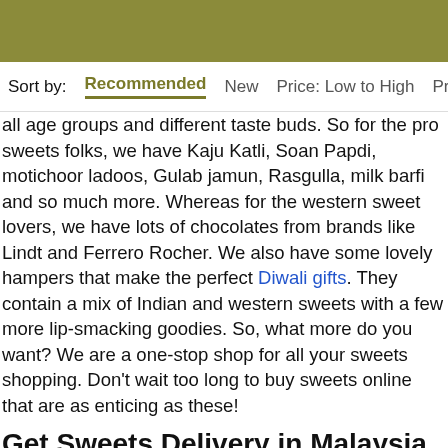Sort by:   Recommended   New   Price: Low to High   Pr
all age groups and different taste buds. So for the pro sweets folks, we have Kaju Katli, Soan Papdi, motichoor ladoos, Gulab jamun, Rasgulla, milk barfi and so much more. Whereas for the western sweet lovers, we have lots of chocolates from brands like Lindt and Ferrero Rocher. We also have some lovely hampers that make the perfect Diwali gifts. They contain a mix of Indian and western sweets with a few more lip-smacking goodies. So, what more do you want? We are a one-stop shop for all your sweets shopping. Don't wait too long to buy sweets online that are as enticing as these!
Get Sweets Delivery in Malaysia via FNP
Whichever festival or occasion is around the corner, make sure it comes with lots of good vibes and happiness. So, to double